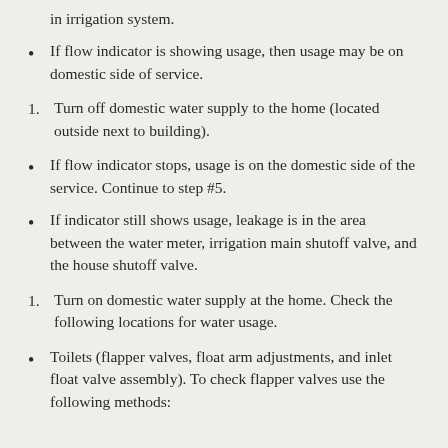in irrigation system.
If flow indicator is showing usage, then usage may be on domestic side of service.
Turn off domestic water supply to the home (located outside next to building).
If flow indicator stops, usage is on the domestic side of the service. Continue to step #5.
If indicator still shows usage, leakage is in the area between the water meter, irrigation main shutoff valve, and the house shutoff valve.
Turn on domestic water supply at the home. Check the following locations for water usage.
Toilets (flapper valves, float arm adjustments, and inlet float valve assembly). To check flapper valves use the following methods: